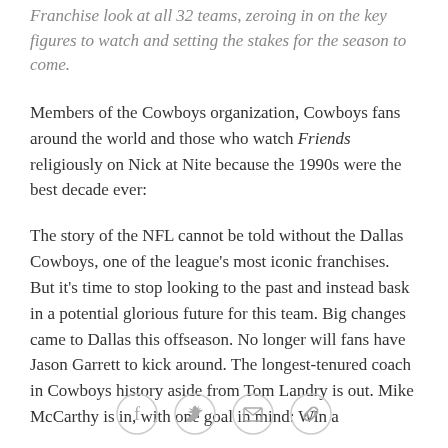Franchise look at all 32 teams, zeroing in on the key figures to watch and setting the stakes for the season to come.
Members of the Cowboys organization, Cowboys fans around the world and those who watch Friends religiously on Nick at Nite because the 1990s were the best decade ever:
The story of the NFL cannot be told without the Dallas Cowboys, one of the league's most iconic franchises. But it's time to stop looking to the past and instead bask in a potential glorious future for this team. Big changes came to Dallas this offseason. No longer will fans have Jason Garrett to kick around. The longest-tenured coach in Cowboys history aside from Tom Landry is out. Mike McCarthy is in, with one goal in mind: Win a
[Figure (other): Social sharing icons: Facebook, Twitter, Email, Link]